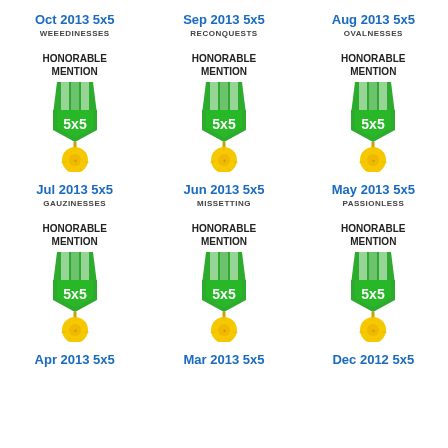Oct 2013 5x5
WEEEDINESSES
Sep 2013 5x5
RECONQUESTS
Aug 2013 5x5
OVALNESSES
HONORABLE MENTION
[Figure (illustration): 5x5 honorable mention medal badge with green ribbon top and gold starburst bottom]
HONORABLE MENTION
[Figure (illustration): 5x5 honorable mention medal badge with green ribbon top and gold starburst bottom]
HONORABLE MENTION
[Figure (illustration): 5x5 honorable mention medal badge with green ribbon top and gold starburst bottom]
Jul 2013 5x5
GAUZINESSES
Jun 2013 5x5
MISSETTING
May 2013 5x5
PASSIONLESS
HONORABLE MENTION
[Figure (illustration): 5x5 honorable mention medal badge with green ribbon top and gold starburst bottom]
HONORABLE MENTION
[Figure (illustration): 5x5 honorable mention medal badge with green ribbon top and gold starburst bottom]
HONORABLE MENTION
[Figure (illustration): 5x5 honorable mention medal badge with green ribbon top and gold starburst bottom]
Apr 2013 5x5
Mar 2013 5x5
Dec 2012 5x5